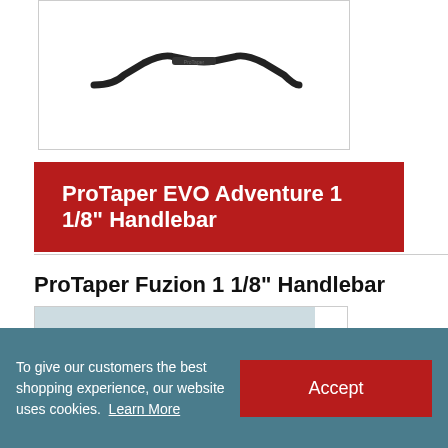[Figure (photo): Photo of a black ProTaper EVO Adventure 1 1/8 inch handlebar against white background]
ProTaper EVO Adventure 1 1/8" Handlebar
ProTaper Fuzion 1 1/8" Handlebar
[Figure (photo): Photo of a ProTaper Fuzion 1 1/8 inch handlebar with ProTaper logo visible]
To give our customers the best shopping experience, our website uses cookies. Learn More
Accept